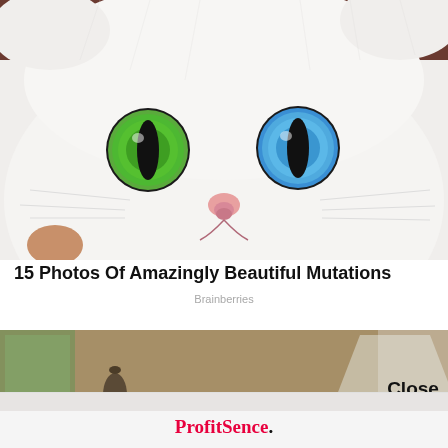[Figure (photo): Close-up photo of a white cat with heterochromia - one green eye and one blue eye, looking directly at camera. A human finger is visible touching its chin. The cat has thick white fur.]
15 Photos Of Amazingly Beautiful Mutations
Brainberries
[Figure (screenshot): Video player thumbnail showing a woman with hair in a bun sitting at a table in a warmly lit room with a lamp visible. A 'Close' button is shown on the right side.]
[Figure (logo): ProfitSence. advertisement logo in red and black text on a light grey background.]